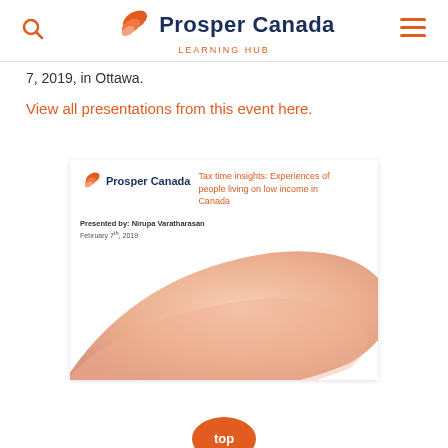Prosper Canada LEARNING HUB
7, 2019, in Ottawa.
View all presentations from this event here.
[Figure (screenshot): Thumbnail of a Prosper Canada presentation slide titled 'Tax time insights: Experiences of people living on low income in Canada', presented by Nirupa Varatharasan, February 7th, 2019. Features the Prosper Canada logo and a decorative peach/salmon coloured swoosh graphic.]
[Figure (other): Orange 'top' button arrow at bottom of page]